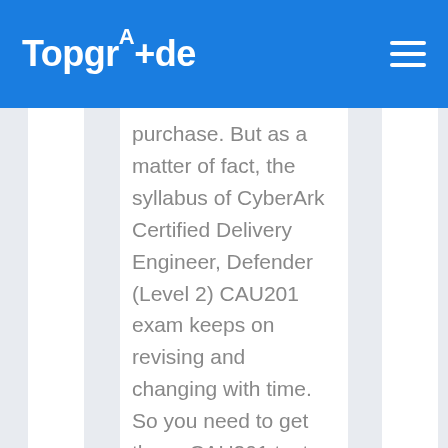TopgrAde
purchase. But as a matter of fact, the syllabus of CyberArk Certified Delivery Engineer, Defender (Level 2) CAU201 exam keeps on revising and changing with time. So you need to get these CAU201 test questions updates regularly. You'll get these CAU201 practice exam updates completely free of charge. You'll